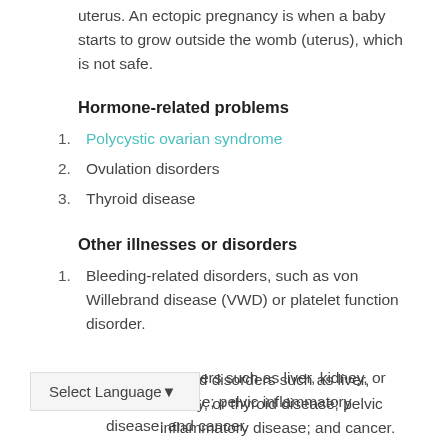uterus. An ectopic pregnancy is when a baby starts to grow outside the womb (uterus), which is not safe.
Hormone-related problems
1. Polycystic ovarian syndrome
2. Ovulation disorders
3. Thyroid disease
Other illnesses or disorders
1. Bleeding-related disorders, such as von Willebrand disease (VWD) or platelet function disorder.
Select Language
related disorders such as liver, kidney, or thyroid disease; pelvic inflammatory disease; and cancer.